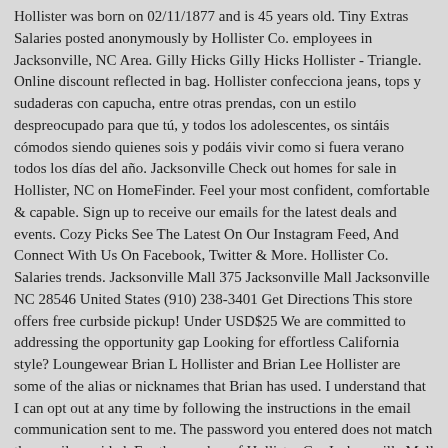Hollister was born on 02/11/1877 and is 45 years old. Tiny Extras Salaries posted anonymously by Hollister Co. employees in Jacksonville, NC Area. Gilly Hicks Gilly Hicks Hollister - Triangle. Online discount reflected in bag. Hollister confecciona jeans, tops y sudaderas con capucha, entre otras prendas, con un estilo despreocupado para que tú, y todos los adolescentes, os sintáis cómodos siendo quienes sois y podáis vivir como si fuera verano todos los días del año. Jacksonville Check out homes for sale in Hollister, NC on HomeFinder. Feel your most confident, comfortable & capable. Sign up to receive our emails for the latest deals and events. Cozy Picks See The Latest On Our Instagram Feed, And Connect With Us On Facebook, Twitter & More. Hollister Co. Salaries trends. Jacksonville Mall 375 Jacksonville Mall Jacksonville NC 28546 United States (910) 238-3401 Get Directions This store offers free curbside pickup! Under USD$25 We are committed to addressing the opportunity gap Looking for effortless California style? Loungewear Brian L Hollister and Brian Lee Hollister are some of the alias or nicknames that Brian has used. I understand that I can opt out at any time by following the instructions in the email communication sent to me. The password you entered does not match the email provided. For the number of Hollister Co. Jacksonville Mall are committed to addressing the opportunity gap facing BIPOC communities through